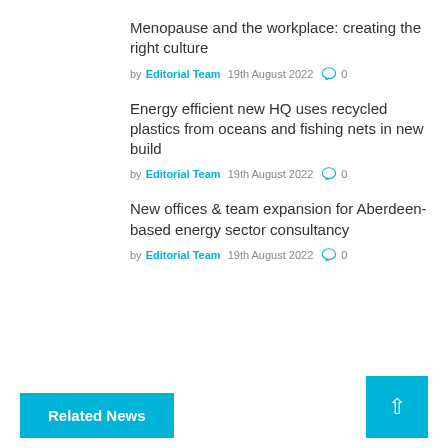Menopause and the workplace: creating the right culture
by Editorial Team  19th August 2022  0
Energy efficient new HQ uses recycled plastics from oceans and fishing nets in new build
by Editorial Team  19th August 2022  0
New offices & team expansion for Aberdeen-based energy sector consultancy
by Editorial Team  19th August 2022  0
Related News